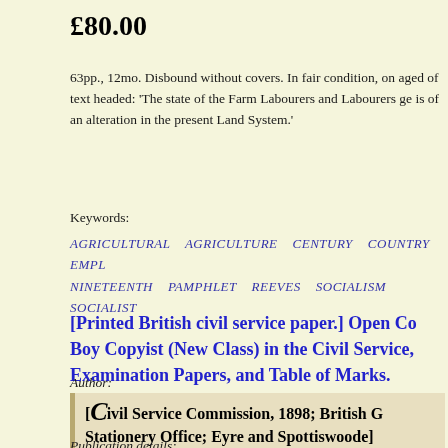£80.00
63pp., 12mo. Disbound without covers. In fair condition, on aged of text headed: 'The state of the Farm Labourers and Labourers ge is of an alteration in the present Land System.'
Keywords:
AGRICULTURAL   AGRICULTURE   CENTURY   COUNTRY   EMPL NINETEENTH   PAMPHLET   REEVES   SOCIALISM   SOCIALIST
[Printed British civil service paper.] Open Co Boy Copyist (New Class) in the Civil Service, Examination Papers, and Table of Marks.
Author:
[Civil Service Commission, 1898; British G Stationery Office; Eyre and Spottiswoode]
Publication details: